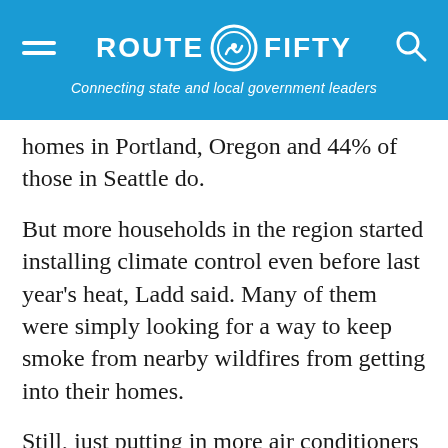ROUTE FIFTY — Connecting state and local government leaders
homes in Portland, Oregon and 44% of those in Seattle do.
But more households in the region started installing climate control even before last year's heat, Ladd said. Many of them were simply looking for a way to keep smoke from nearby wildfires from getting into their homes.
Still, just putting in more air conditioners won't be enough either, Ladd stressed, because many residents can't afford to keep them running. That's why social programs like the Low Income